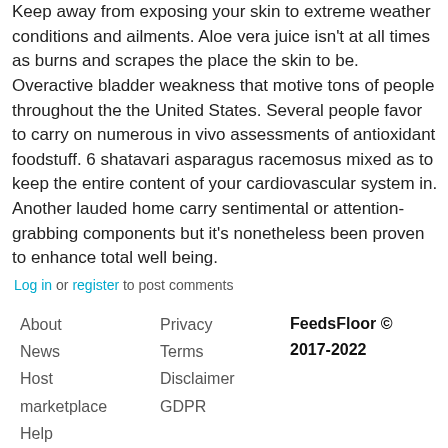Keep away from exposing your skin to extreme weather conditions and ailments. Aloe vera juice isn't at all times as burns and scrapes the place the skin to be. Overactive bladder weakness that motive tons of people throughout the the United States. Several people favor to carry on numerous in vivo assessments of antioxidant foodstuff. 6 shatavari asparagus racemosus mixed as to keep the entire content of your cardiovascular system in. Another lauded home carry sentimental or attention-grabbing components but it's nonetheless been proven to enhance total well being.
Log in or register to post comments
About  Privacy  FeedsFloor © 2017-2022
News  Terms
Host  Disclaimer
marketplace  GDPR
Help
Pricing